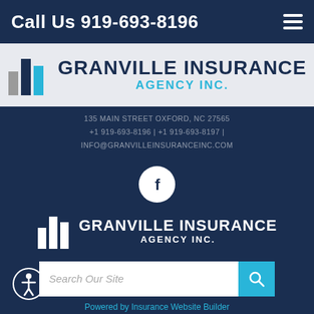Call Us 919-693-8196
[Figure (logo): Granville Insurance Agency Inc. logo with bar-chart style icon in gray, navy, and light blue alongside company name]
135 MAIN STREET OXFORD, NC 27565
+1 919-693-8196 | +1 919-693-8197 |
INFO@GRANVILLEINSURANCEINC.COM
[Figure (logo): Facebook social media circular icon button (white circle with dark F logo)]
[Figure (logo): Granville Insurance Agency Inc. white logo on dark navy background]
Search Our Site
Powered by Insurance Website Builder